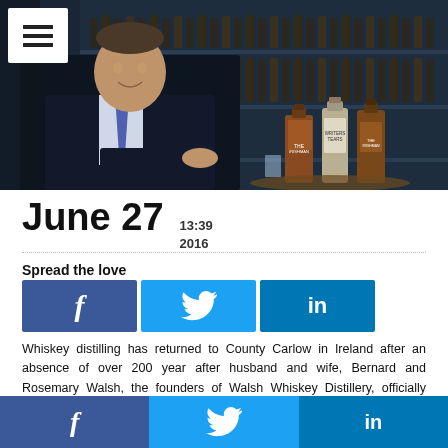[Figure (photo): Man in dark suit sitting at a table with whiskey bottles (The Irishman, Writers Tears) in front of a wall of whiskey bottles]
June 27  13:39  2016
Spread the love
[Figure (infographic): Facebook, Twitter, LinkedIn share buttons]
Whiskey distilling has returned to County Carlow in Ireland after an absence of over 200 year after husband and wife, Bernard and Rosemary Walsh, the founders of Walsh Whiskey Distillery, officially opened their €25 million Irish whiskey distillery by the banks of the River Barrow at Royal Oak. Royal Oak is now distilling Walsh Whiskey Distillery's whiskeys, The Irishman and Writers Tears, which
[Figure (infographic): Bottom bar with Facebook, Twitter, LinkedIn share buttons]